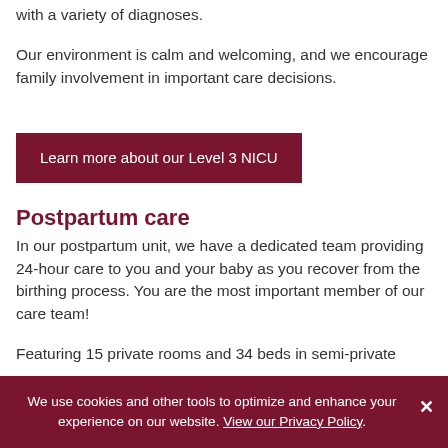with a variety of diagnoses.
Our environment is calm and welcoming, and we encourage family involvement in important care decisions.
Learn more about our Level 3 NICU
Postpartum care
In our postpartum unit, we have a dedicated team providing 24-hour care to you and your baby as you recover from the birthing process. You are the most important member of our care team!
Featuring 15 private rooms and 34 beds in semi-private
We use cookies and other tools to optimize and enhance your experience on our website. View our Privacy Policy.